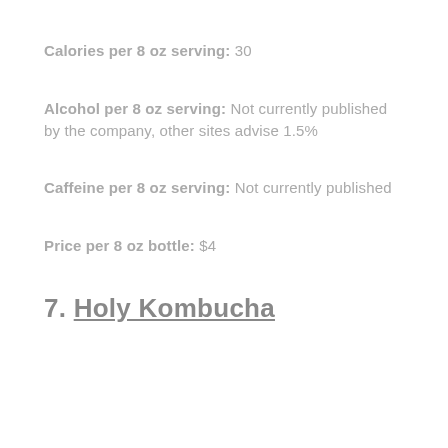Calories per 8 oz serving: 30
Alcohol per 8 oz serving: Not currently published by the company, other sites advise 1.5%
Caffeine per 8 oz serving: Not currently published
Price per 8 oz bottle: $4
7. Holy Kombucha